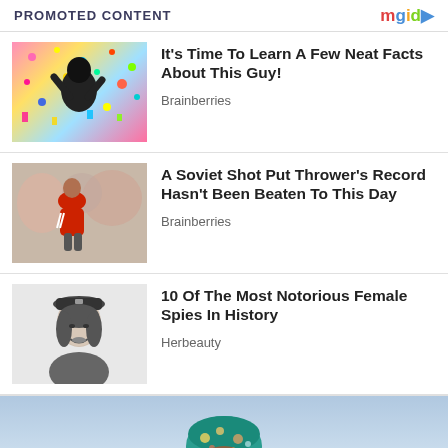PROMOTED CONTENT
It's Time To Learn A Few Neat Facts About This Guy!
Brainberries
A Soviet Shot Put Thrower's Record Hasn't Been Beaten To This Day
Brainberries
10 Of The Most Notorious Female Spies In History
Herbeauty
[Figure (photo): Person celebrating with confetti]
[Figure (photo): Athlete in red sports gear outdoors]
[Figure (photo): Black and white photo of woman in military cap]
[Figure (photo): Person with colorful headwrap outdoors, partial view at bottom]